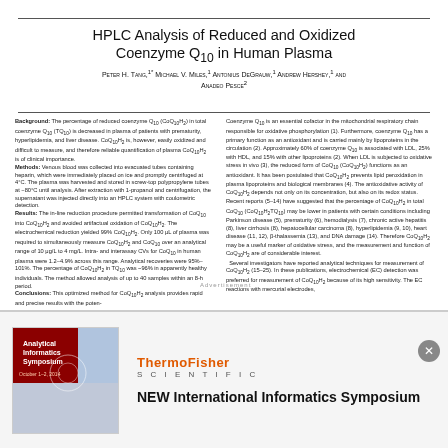HPLC Analysis of Reduced and Oxidized Coenzyme Q10 in Human Plasma
Peter H. Tang,1* Michael V. Miles,1 Antonius DeGrauw,1 Andrew Hershey,1 and Anadeo Pesce2
Background: The percentage of reduced coenzyme Q10 (CoQ10H2) in total coenzyme Q10 (TQ10) is decreased in plasma of patients with prematurity, hyperlipidemia, and liver disease. CoQ10H2 is, however, easily oxidized and difficult to measure, and therefore reliable quantification of plasma CoQ10H2 is of clinical importance. Methods: Venous blood was collected into evacuated tubes containing heparin, which were immediately placed on ice and promptly centrifuged at 4°C. The plasma was harvested and stored in screw-top polypropylene tubes at −80°C until analysis. After extraction with 1-propanol and centrifugation, the supernatant was injected directly into an HPLC system with coulometric detection. Results: The in-line reduction procedure permitted transformation of CoQ10 into CoQ10H2 and avoided artifactual oxidation of CoQ10H2. The electrochemical reduction yielded 99% CoQ10H2. Only 100 μL of plasma was required to simultaneously measure CoQ10H2 and CoQ10 over an analytical range of 10 μg/L to 4 mg/L. Intra- and interassay CVs for CoQ10 in human plasma were 1.2–4.9% across this range. Analytical recoveries were 95%–101%. The percentage of CoQ10H2 in TQ10 was ~96% in apparently healthy individuals. The method allowed analysis of up to 40 samples within an 8-h period. Conclusions: This optimized method for CoQ10H2 analysis provides rapid and precise results with the poten-
Coenzyme Q10 is an essential cofactor in the mitochondrial respiratory chain responsible for oxidative phosphorylation (1). Furthermore, coenzyme Q10 has a primary function as an antioxidant and is carried mainly by lipoproteins in the circulation (2). Approximately 60% of coenzyme Q10 is associated with LDL, 25% with HDL, and 15% with other lipoproteins (2). When LDL is subjected to oxidative stress in vivo (3), the reduced form of CoQ10 (CoQ10H2) functions as an antioxidant. It has been postulated that CoQ10H2 prevents lipid peroxidation in plasma lipoproteins and biological membranes (4). The antioxidative activity of CoQ10H2 depends not only on its concentration, but also on its redox status. Recent reports (5–14) have suggested that the percentage of CoQ10H2 in total CoQ10 (CoQ10H2TQ10) may be lower in patients with certain conditions including Parkinson disease (5), prematurity (6), hemodialysis (7), chronic active hepatitis (8), liver cirrhosis (8), hepatocellular carcinoma (8), hyperlipidemia (9, 10), heart disease (11, 12), β-thalassemia (13), and DNA damage (14). Therefore CoQ10H2 may be a useful marker of oxidative stress, and the measurement and function of CoQ10H2 are of considerable interest. Several investigators have reported analytical techniques for measurement of CoQ10H2 (15–25). In these publications, electrochemical (EC) detection was preferred for measurement of CoQ10H2 because of its high sensitivity. The EC reactions with mercurial electrodes,
[Figure (infographic): Advertisement banner showing Thermo Fisher Scientific logo and red/blue abstract book cover image with text 'NEW International Informatics Symposium']